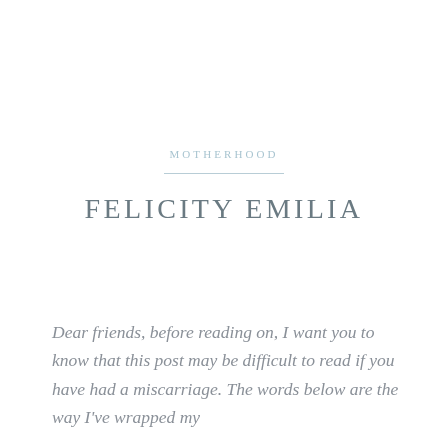MOTHERHOOD
FELICITY EMILIA
Dear friends, before reading on, I want you to know that this post may be difficult to read if you have had a miscarriage. The words below are the way I've wrapped my